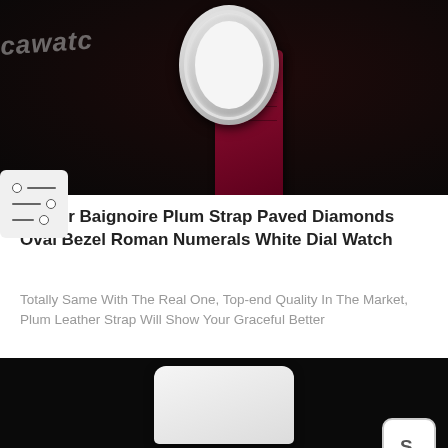[Figure (photo): Product photo of Cartier Baignoire watch with plum/burgundy leather strap and diamond-paved oval bezel on black background, with 'icawatch' watermark text]
Cartier Baignoire Plum Strap Paved Diamonds Oval Bezel Roman Numerals White Dial Watch
Totally Same With The Real One, Top-end Quality In The Market, Plum Leather Strap Will Show Your Graceful Better
$291.21
[Figure (photo): Second product photo showing a white leather watch strap on black background]